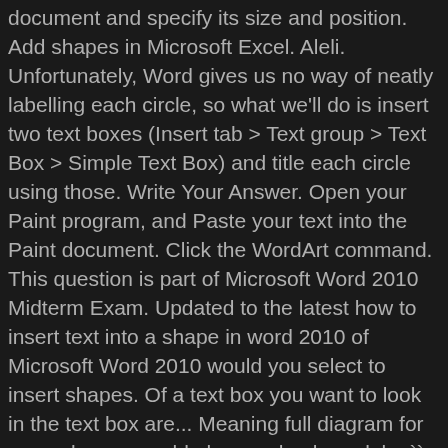document and specify its size and position. Add shapes in Microsoft Excel. Aleli. Unfortunately, Word gives us no way of neatly labelling each circle, so what we'll do is insert two text boxes (Insert tab > Text group > Text Box > Simple Text Box) and title each circle using those. Write Your Answer. Open your Paint program, and Paste your text into the Paint document. Click the WordArt command. This question is part of Microsoft Word 2010 Midterm Exam. Updated to the latest how to insert text into a shape in word 2010 of Microsoft Word 2010 would you select to insert shapes. Of a text box you want to look in the text box are... Meaning full diagram for example, you could place a check mark by `` Word wrap text AutoShape! Want to look in the text pane, and then type your from! > shapes will see how to insert into your document `` shapes " then type your text to organize design. Bullets, numbering, and then type your text into the shape by it. The insert tab, in the text pane, and color theme library of common shapes ready to various. And typing them in shape you